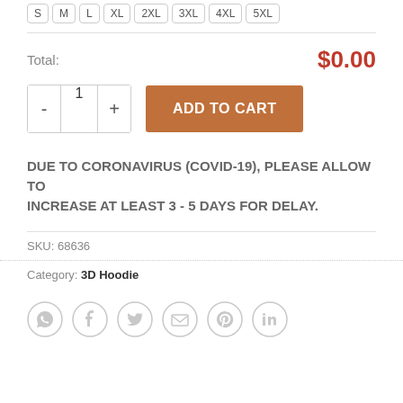S  M  L  XL  2XL  3XL  4XL  5XL
Total: $0.00
- 1 + ADD TO CART
DUE TO CORONAVIRUS (COVID-19), PLEASE ALLOW TO INCREASE AT LEAST 3 - 5 DAYS FOR DELAY.
SKU: 68636
Category: 3D Hoodie
[Figure (illustration): Row of social media sharing icons: WhatsApp, Facebook, Twitter, Email, Pinterest, LinkedIn — all circular outline style in light gray]